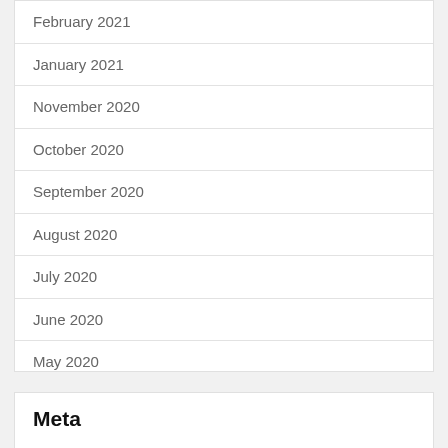February 2021
January 2021
November 2020
October 2020
September 2020
August 2020
July 2020
June 2020
May 2020
Meta